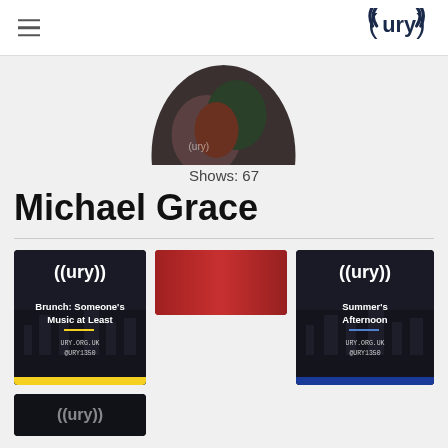URY navigation header with hamburger menu and URY logo
[Figure (photo): Circular profile photo of Michael Grace wearing URY headphones]
Shows: 67
Michael Grace
[Figure (photo): Show card: Brunch: Someone's Music at Least - dark background with URY logo, yellow bar at bottom, URY.ORG.UK @URY1350]
[Figure (photo): Show card: red/crimson solid color background]
[Figure (photo): Show card: Summer's Afternoon - dark background with URY logo, blue bar at bottom, URY.ORG.UK @URY1350]
[Figure (photo): Partial show card with dark background visible at bottom]